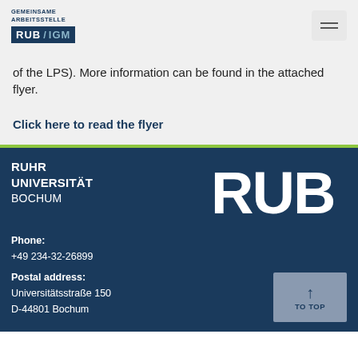[Figure (logo): Gemeinsame Arbeitsstelle RUB/IGM logo with dark navy badge]
of the LPS). More information can be found in the attached flyer.
Click here to read the flyer
[Figure (logo): RUB (Ruhr Universität Bochum) large white logo on dark navy footer]
RUHR UNIVERSITÄT BOCHUM
Phone: +49 234-32-26899
Postal address: Universitätsstraße 150 D-44801 Bochum